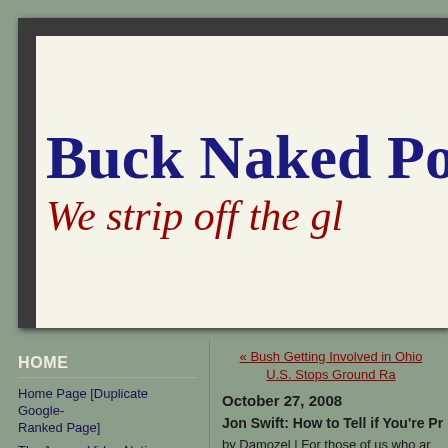Buck Naked Politi
We strip off the gl
HOME
Home Page [Duplicate Google-Ranked Page]
The Annex: Video Nation
The Woman of a Certain Age (Abstract Digital Art by
« Bush Getting Involved in Ohio
U.S. Stops Ground Ra
October 27, 2008
Jon Swift: How to Tell if You're Pr
by Damozel | For those of us who ar guys just instinctively know---reaso